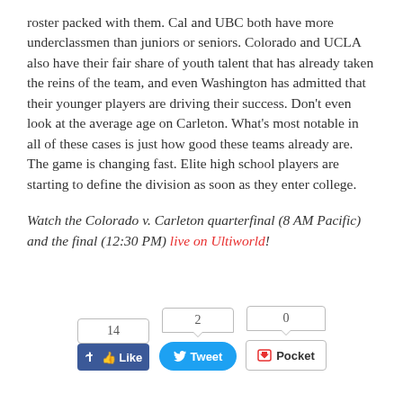roster packed with them. Cal and UBC both have more underclassmen than juniors or seniors. Colorado and UCLA also have their fair share of youth talent that has already taken the reins of the team, and even Washington has admitted that their younger players are driving their success. Don't even look at the average age on Carleton. What's most notable in all of these cases is just how good these teams already are. The game is changing fast. Elite high school players are starting to define the division as soon as they enter college.
Watch the Colorado v. Carleton quarterfinal (8 AM Pacific) and the final (12:30 PM) live on Ultiworld!